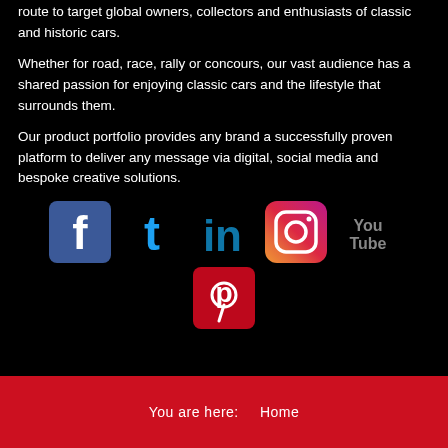route to target global owners, collectors and enthusiasts of classic and historic cars.
Whether for road, race, rally or concours, our vast audience has a shared passion for enjoying classic cars and the lifestyle that surrounds them.
Our product portfolio provides any brand a successfully proven platform to deliver any message via digital, social media and bespoke creative solutions.
[Figure (logo): Social media icons row: Facebook, Twitter, LinkedIn, Instagram, YouTube, and Pinterest logos on black background]
You are here:   Home